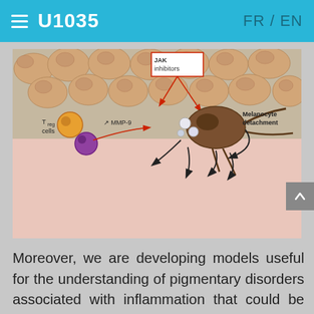U1035   FR / EN
[Figure (illustration): Scientific diagram showing melanocyte detachment in skin tissue. Shows keratinocytes (skin cells) at the top, with JAK inhibitors labeled in a red box. Arrows indicate MMP-9 upregulation. T_reg cells and a purple cell (immune cell) are shown on the left. Melanocyte detachment is labeled on the right with curved black arrows showing the detachment process. The dermis (pink layer) is visible below the epidermis.]
Moreover, we are developing models useful for the understanding of pigmentary disorders associated with inflammation that could be seen during the course of chronic inflammatory diseases such as psoriasis, atopic dermatitis or